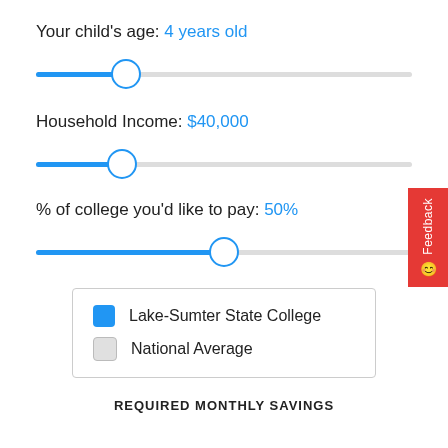Your child's age: 4 years old
[Figure (other): Age slider set to 4 years old, approximately 25% along the track]
Household Income: $40,000
[Figure (other): Household income slider set to $40,000, approximately 24% along the track]
% of college you'd like to pay: 50%
[Figure (other): College percentage slider set to 50%, approximately 50% along the track]
Lake-Sumter State College
National Average
REQUIRED MONTHLY SAVINGS